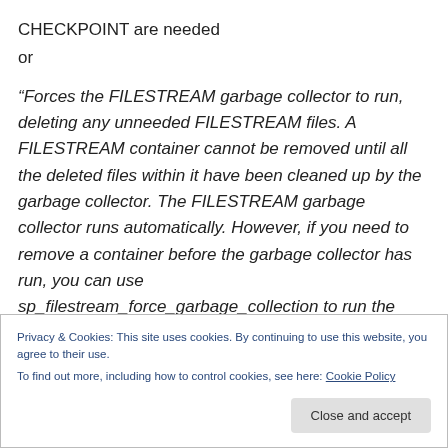CHECKPOINT are needed
or
“Forces the FILESTREAM garbage collector to run, deleting any unneeded FILESTREAM files. A FILESTREAM container cannot be removed until all the deleted files within it have been cleaned up by the garbage collector. The FILESTREAM garbage collector runs automatically. However, if you need to remove a container before the garbage collector has run, you can use sp_filestream_force_garbage_collection to run the
Privacy & Cookies: This site uses cookies. By continuing to use this website, you agree to their use.
To find out more, including how to control cookies, see here: Cookie Policy